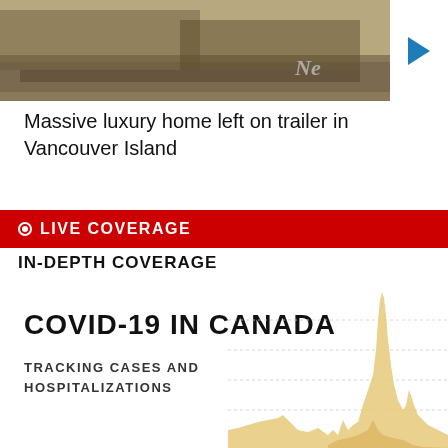[Figure (photo): Aerial or ground-level photo of a large house/home on a flatbed trailer on a road or lot, with vehicles visible. A 'NE' logo watermark and play button overlay are present.]
Massive luxury home left on trailer in Vancouver Island
⊙ LIVE COVERAGE
IN-DEPTH COVERAGE
[Figure (continuous-plot): Partial area chart showing COVID-19 cases and hospitalizations in Canada over time. The chart shows a large spike (likely Omicron wave) and smaller peaks. The y-axis and x-axis labels are not visible in this crop.]
COVID-19 IN CANADA
TRACKING CASES AND HOSPITALIZATIONS